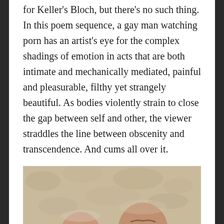for Keller's Bloch, but there's no such thing. In this poem sequence, a gay man watching porn has an artist's eye for the complex shadings of emotion in acts that are both intimate and mechanically mediated, painful and pleasurable, filthy yet strangely beautiful. As bodies violently strain to close the gap between self and other, the viewer straddles the line between obscenity and transcendence. And cums all over it.
[Figure (photo): Two older men smiling and posing together against a stucco wall. The man on the left is leaning his head on the right man's shoulder; both are bald or nearly bald with white/grey facial hair. The man on the left wears a dark shirt; the man on the right wears a white t-shirt.]